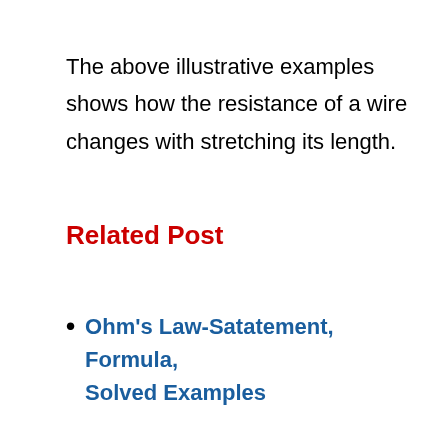The above illustrative examples shows how the resistance of a wire changes with stretching its length.
Related Post
Ohm's Law-Satatement, Formula, Solved Examples